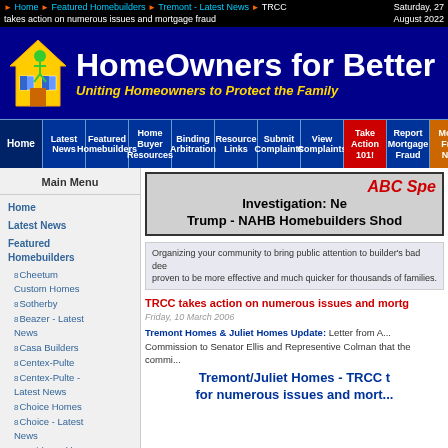Home ▶ Featured Homebuilders ▶ Tremont - Latest News ▶ TRCC takes action on numerous issues and mortgage fraud | Saturday, 27 August 2022
[Figure (logo): HomeOwners for Better Building logo with house graphic on blue background, subtitle: Uniting Homeowners to Protect the Family]
Home | Latest News | Featured Homebuilders | Home Buyer Resources | Binding Arbitration | Resource Links | Submit Complaints | View Complaints | Take Action 101! | Report Mortgage Fraud | Mortgage News
Main Menu
Home
Latest News
Featured Homebuilders
Cheetum Custom Homes
Sotherby
Beazer - Latest News
Casa Builders
Centex-Pulte
Centex-Pulte - Latest News
Choice Homes
Choice - Latest News
David Weekley Homes
ABC Special Investigation: New Trump - NAHB Homebuilders Shod...
Organizing your community to bring public attention to builder's bad dee... proven to be more effective and much quicker for thousands of families.
TRCC takes action on numerous issues and mortg...
Friday, 10 March 2006
Tremont Homes & Juliet Homes Update: Letter from A... Commission to Senator Ellis and Representive Colman that the commi...
Tremont/Juliet Homes - TRCC t... for numerous issues and mort...